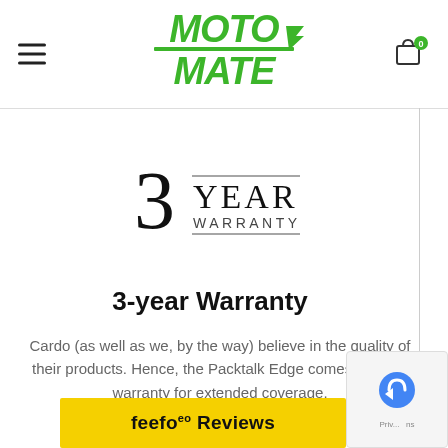MotoMate logo with hamburger menu and cart icon
[Figure (logo): 3 YEAR WARRANTY badge with large '3' and text 'YEAR' above line and 'WARRANTY' below line]
3-year Warranty
Cardo (as well as we, by the way) believe in the quality of their products. Hence, the Packtalk Edge comes with a 3 warranty for extended coverage.
[Figure (logo): Feefo Reviews yellow bar at bottom]